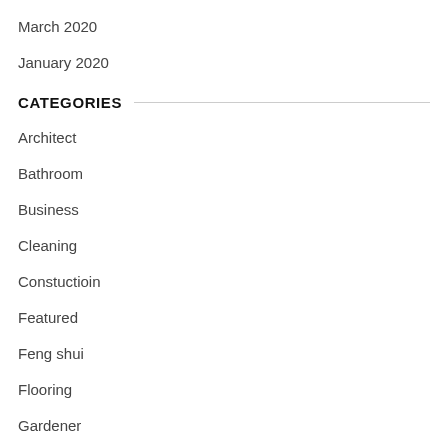March 2020
January 2020
CATEGORIES
Architect
Bathroom
Business
Cleaning
Constuctioin
Featured
Feng shui
Flooring
Gardener